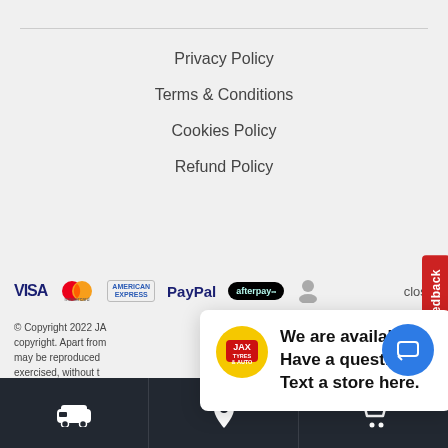Privacy Policy
Terms & Conditions
Cookies Policy
Refund Policy
[Figure (logo): Payment method logos: VISA, Mastercard, American Express, PayPal, Afterpay, close button]
© Copyright 2022 JAX Tyres & Auto is copyright. Apart from may be reproduced exercised, without t Limited.
[Figure (screenshot): JAX Tyres & Auto chat popup: We are available! Have a question? Text a store here. With blue message button.]
[Figure (other): Feedback tab on right side]
Bottom navigation bar with car icon, location pin icon, and shopping cart icon